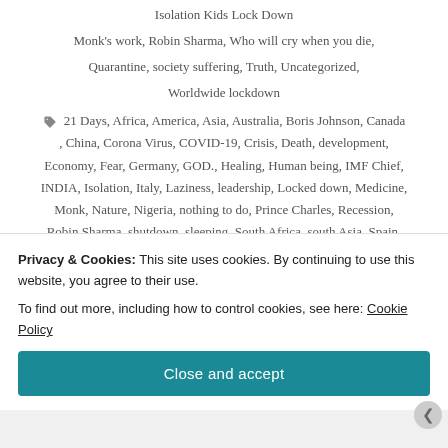Isolation Kids Lock Down
Monk's work, Robin Sharma, Who will cry when you die,
Quarantine, society suffering, Truth, Uncategorized,
Worldwide lockdown
21 Days, Africa, America, Asia, Australia, Boris Johnson, Canada, China, Corona Virus, COVID-19, Crisis, Death, development, Economy, Fear, Germany, GOD., Healing, Human being, IMF Chief, INDIA, Isolation, Italy, Laziness, leadership, Locked down, Medicine, Monk, Nature, Nigeria, nothing to do, Prince Charles, Recession, Robin Sharma, shutdown, sleeping, South Africa, south Asia, Spain, United Kingdom, UNITED STATE OF AMERICA, United States of America, Vaccine needed, virologist, WHO,
Privacy & Cookies: This site uses cookies. By continuing to use this website, you agree to their use.
To find out more, including how to control cookies, see here: Cookie Policy
Close and accept